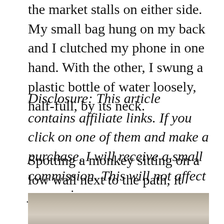the market stalls on either side. My small bag hung on my back and I clutched my phone in one hand. With the other, I swung a plastic bottle of water loosely, half-full, by its neck.
Disclosure: This article contains affiliate links. If you click on one of them and make a purchase, I will receive a small commission. This will not affect your price.
Spotting a monkey sitting on a low wall next to the path, it intrigued me to see that he seemed to notice me back.
[Figure (photo): Partial view of a photo at the bottom of the page, showing a textured stone or wall surface with muted grey-brown tones.]